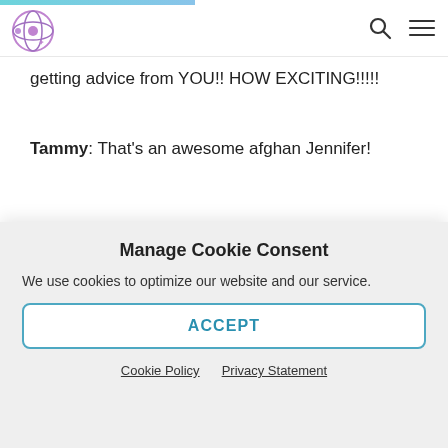getting advice from YOU!! HOW EXCITING!!!!!
Tammy: That's an awesome afghan Jennifer!
Jo Ann:  OMG!!! I have a projec tfor you!!!
Manage Cookie Consent
We use cookies to optimize our website and our service.
ACCEPT
Cookie Policy   Privacy Statement